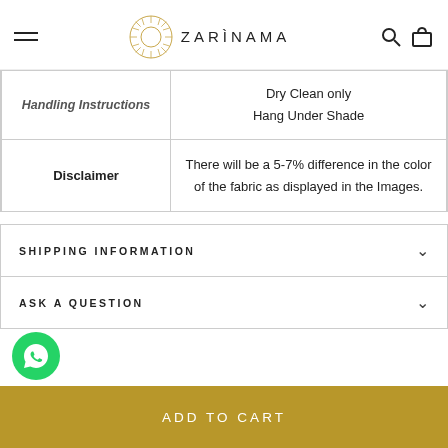ZARINAMA
| Label | Value |
| --- | --- |
| Handling Instructions | Dry Clean only
Hang Under Shade |
| Disclaimer | There will be a 5-7% difference in the color of the fabric as displayed in the Images. |
SHIPPING INFORMATION
ASK A QUESTION
ADD TO CART